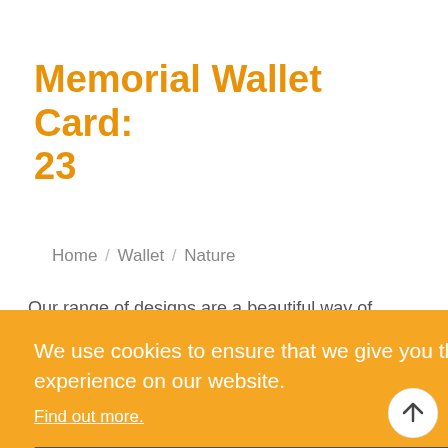Memorial Wallet Card: 23
Home / Wallet / Nature
Our range of designs are a beautiful way of
We use cookies to ensure that we give you the best experience on our website.
Find out more.
Accept
us to
at is
would
etails